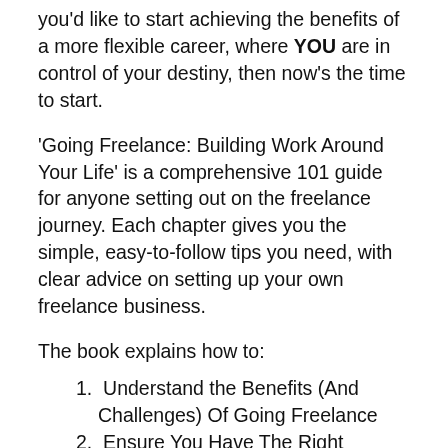you'd like to start achieving the benefits of a more flexible career, where YOU are in control of your destiny, then now's the time to start.
'Going Freelance: Building Work Around Your Life' is a comprehensive 101 guide for anyone setting out on the freelance journey. Each chapter gives you the simple, easy-to-follow tips you need, with clear advice on setting up your own freelance business.
The book explains how to:
1. Understand the Benefits (And Challenges) Of Going Freelance
2. Ensure You Have The Right Experience And Skills